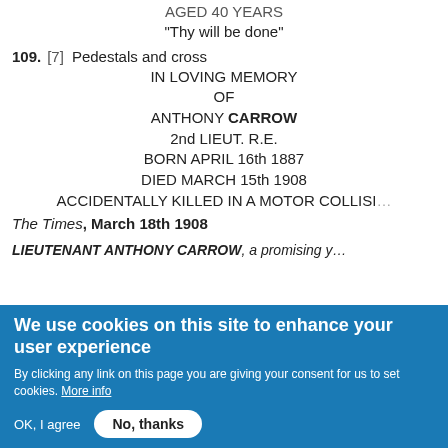AGED 40 YEARS
"Thy will be done"
109.  [7]  Pedestals and cross
IN LOVING MEMORY
OF
ANTHONY CARROW
2nd LIEUT. R.E.
BORN APRIL 16th 1887
DIED MARCH 15th 1908
ACCIDENTALLY KILLED IN A MOTOR COLLISION
The Times, March 18th 1908
LIEUTENANT ANTHONY CARROW, a promising y...
We use cookies on this site to enhance your user experience
By clicking any link on this page you are giving your consent for us to set cookies. More info
OK, I agree   No, thanks